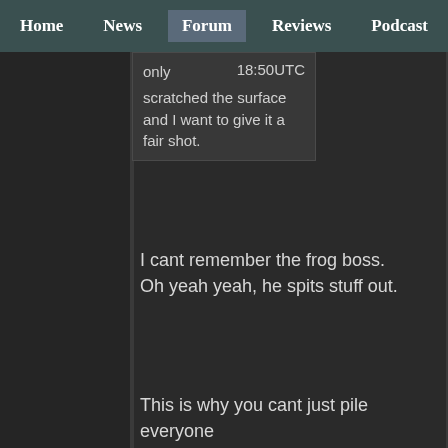Home  News  Forum  Reviews  Podcast
only scratched the surface and I want to give it a fair shot.    18:50UTC
I cant remember the frog boss. Oh yeah yeah, he spits stuff out.
This is why you cant just pile everyone